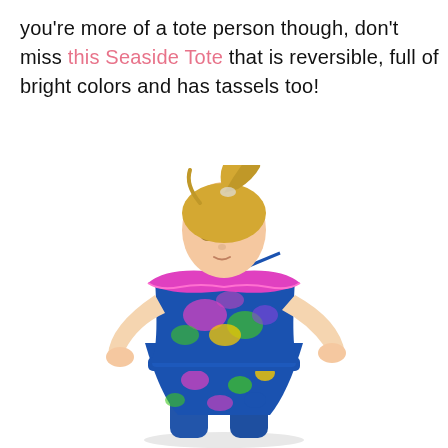you're more of a tote person though, don't miss this Seaside Tote that is reversible, full of bright colors and has tassels too!
[Figure (photo): A young blonde girl with her hair in a high ponytail looks down, posing with hands on hips. She wears a colorful tropical print off-shoulder romper with blue, pink, green, and yellow floral and leaf patterns.]